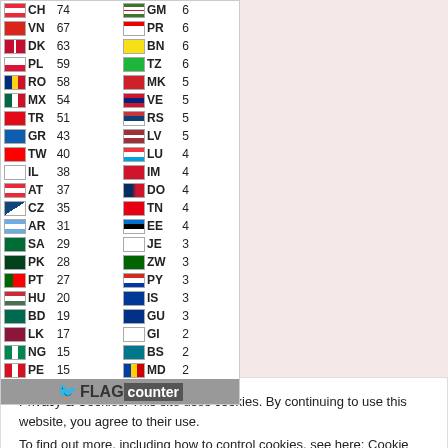| Flag | Code | Count | Flag | Code | Count |
| --- | --- | --- | --- | --- | --- |
| CH flag | CH | 74 | GM flag | GM | 6 |
| VN flag | VN | 67 | PR flag | PR | 6 |
| DK flag | DK | 63 | BN flag | BN | 6 |
| PL flag | PL | 59 | TZ flag | TZ | 6 |
| RO flag | RO | 58 | MK flag | MK | 5 |
| MX flag | MX | 54 | VE flag | VE | 5 |
| TR flag | TR | 51 | RS flag | RS | 5 |
| GR flag | GR | 43 | LV flag | LV | 5 |
| TW flag | TW | 40 | LU flag | LU | 4 |
| IL flag | IL | 38 | IM flag | IM | 4 |
| AT flag | AT | 37 | DO flag | DO | 4 |
| CZ flag | CZ | 35 | TN flag | TN | 4 |
| AR flag | AR | 31 | EE flag | EE | 4 |
| SA flag | SA | 29 | JE flag | JE | 3 |
| PK flag | PK | 28 | ZW flag | ZW | 3 |
| PT flag | PT | 27 | PY flag | PY | 3 |
| HU flag | HU | 20 | IS flag | IS | 3 |
| BD flag | BD | 19 | GU flag | GU | 3 |
| LK flag | LK | 17 | GI flag | GI | 2 |
| NG flag | NG | 15 | BS flag | BS | 2 |
| PE flag | PE | 15 | MD flag | MD | 2 |
[Figure (logo): Flag Counter logo with bird icon and text FLAG counter]
Privacy & Cookies: This site uses cookies. By continuing to use this website, you agree to their use.
To find out more, including how to control cookies, see here: Cookie Policy
Close and accept